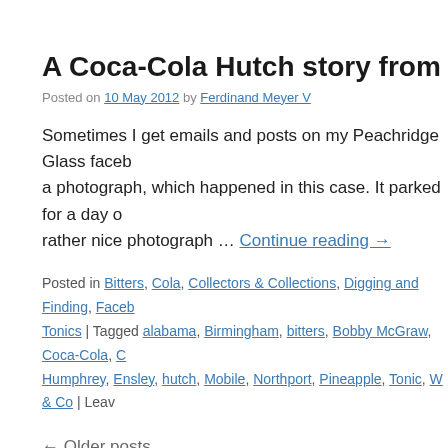A Coca-Cola Hutch story from Alabama
Posted on 10 May 2012 by Ferdinand Meyer V
Sometimes I get emails and posts on my Peachridge Glass faceb… a photograph, which happened in this case. It parked for a day o… rather nice photograph … Continue reading →
Posted in Bitters, Cola, Collectors & Collections, Digging and Finding, Faceb… Tonics | Tagged alabama, Birmingham, bitters, Bobby McGraw, Coca-Cola, C… Humphrey, Ensley, hutch, Mobile, Northport, Pineapple, Tonic, W & Co | Leav…
← Older posts